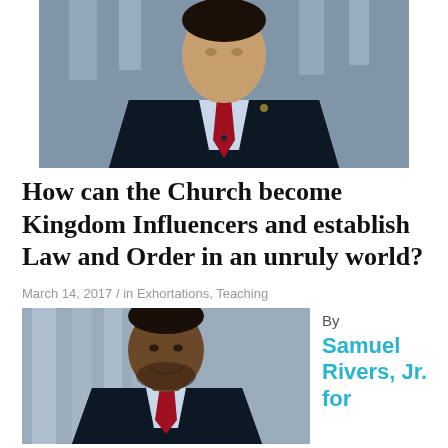[Figure (photo): Photo of a man in a dark navy suit with a red tie, standing in front of columns or steps, cropped to show torso and head area.]
How can the Church become Kingdom Influencers and establish Law and Order in an unruly world?
March 14, 2017 / in Exhortations, Teaching
[Figure (photo): Portrait photo of Samuel Rivers, Jr., a smiling Black man in a dark suit with a red tie, photographed in front of architectural columns.]
By Samuel Rivers, Jr. for